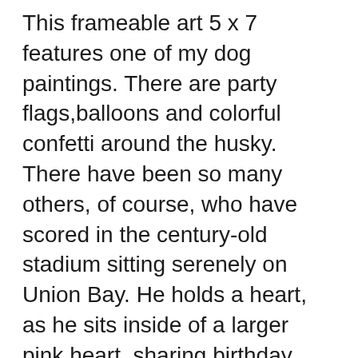This frameable art 5 x 7 features one of my dog paintings. There are party flags,balloons and colorful confetti around the husky. There have been so many others, of course, who have scored in the century-old stadium sitting serenely on Union Bay. He holds a heart, as he sits inside of a larger pink heart, sharing birthday wishes with the recipient. Happy birthday to the man whom I love most in the world, my hubby. 63. Husky fan Ken Nelson is celebrating his 100th birthday on Nov. 10, just days before Husky Stadium's official Centennial date on Nov. 27. I captured him as he adventured through the California desert during the golden hour. © Copyright 2000-document.write(new